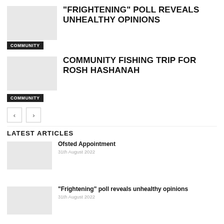“FRIGHTENING” POLL REVEALS UNHEALTHY OPINIONS
COMMUNITY
COMMUNITY FISHING TRIP FOR ROSH HASHANAH
COMMUNITY
LATEST ARTICLES
Ofsted Appointment
31th August 2022
“Frightening” poll reveals unhealthy opinions
31th August 2022